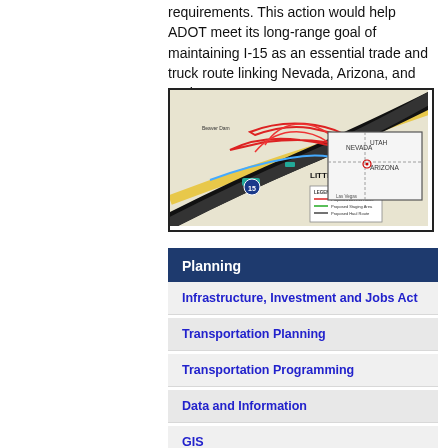requirements. This action would help ADOT meet its long-range goal of maintaining I-15 as an essential trade and truck route linking Nevada, Arizona, and Utah.
[Figure (map): Map showing proposed highway and staging areas near Littlefield, Arizona, with an inset map showing the tri-state area of Nevada, Arizona, and Utah.]
Planning
Infrastructure, Investment and Jobs Act
Transportation Planning
Transportation Programming
Data and Information
GIS